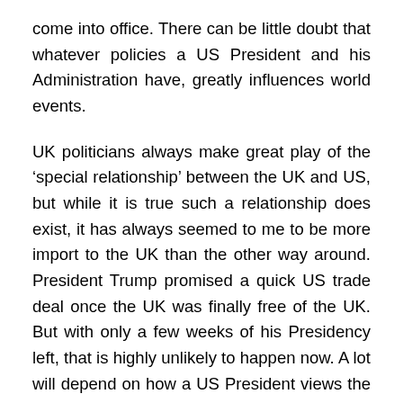come into office. There can be little doubt that whatever policies a US President and his Administration have, greatly influences world events.
UK politicians always make great play of the ‘special relationship’ between the UK and US, but while it is true such a relationship does exist, it has always seemed to me to be more import to the UK than the other way around. President Trump promised a quick US trade deal once the UK was finally free of the UK. But with only a few weeks of his Presidency left, that is highly unlikely to happen now. A lot will depend on how a US President views the UK. Many are suspicious the UK still has colonialist leanings as it once had a great colonial empire including part of the US.
I think it likely that the special relationship will continue as